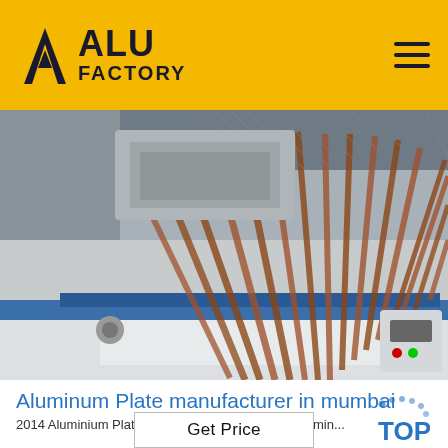[Figure (logo): ALU FACTORY logo with yellow/black triangular A icon and bold text on yellow background, with hamburger menu icon on right]
[Figure (photo): Industrial aluminum factory machinery showing copper/brown colored sheets being processed on a conveyor line with industrial equipment]
Aluminum Plate manufacturer in mumbai
2014 Aluminium Plates; 2024 Aluminium Plates; Aluminium...
[Figure (logo): TOP badge/watermark in blue dots and bold text]
Get Price